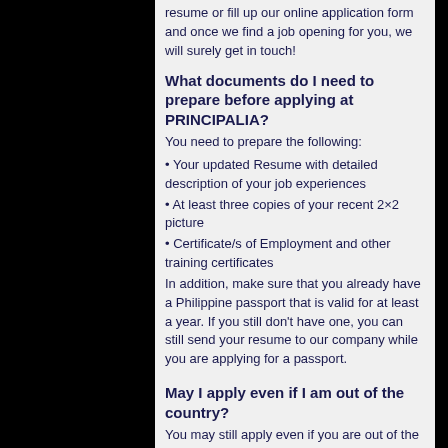resume or fill up our online application form and once we find a job opening for you, we will surely get in touch!
What documents do I need to prepare before applying at PRINCIPALIA?
You need to prepare the following:
• Your updated Resume with detailed description of your job experiences
• At least three copies of your recent 2×2 picture
• Certificate/s of Employment and other training certificates
In addition, make sure that you already have a Philippine passport that is valid for at least a year. If you still don't have one, you can still send your resume to our company while you are applying for a passport.
May I apply even if I am out of the country?
You may still apply even if you are out of the country. All you have to do is email your resume to info@principalia.com or fill out the application form found in our website. Just